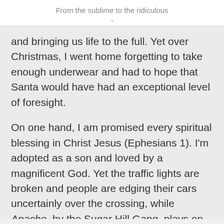From the sublime to the ridiculous
and bringing us life to the full. Yet over Christmas, I went home forgetting to take enough underwear and had to hope that Santa would have had an exceptional level of foresight.
On one hand, I am promised every spiritual blessing in Christ Jesus (Ephesians 1). I'm adopted as a son and loved by a magnificent God. Yet the traffic lights are broken and people are edging their cars uncertainly over the crossing, while Apache, by the Sugar Hill Gang, plays on the radio.